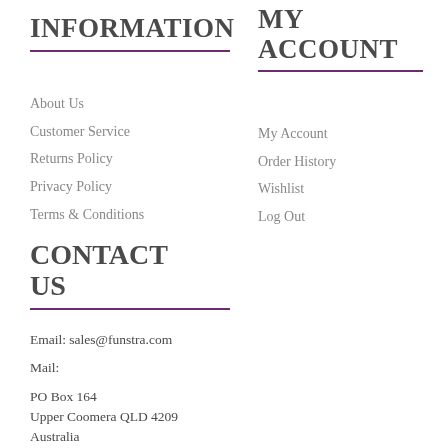INFORMATION
MY ACCOUNT
About Us
Customer Service
Returns Policy
Privacy Policy
Terms & Conditions
My Account
Order History
Wishlist
Log Out
CONTACT US
Email: sales@funstra.com
Mail:
PO Box 164
Upper Coomera QLD 4209
Australia